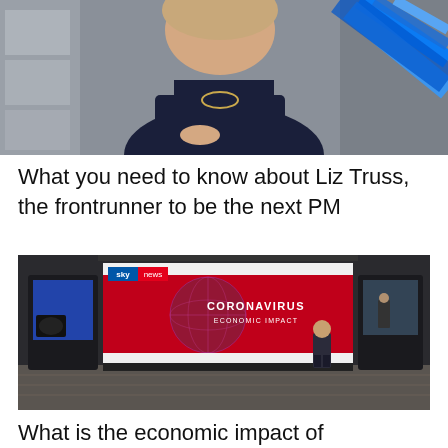[Figure (photo): A woman in a dark navy top with a gold necklace, with blue diagonal graphic elements on the right side, against a grey/silver background]
What you need to know about Liz Truss, the frontrunner to be the next PM
[Figure (photo): Sky News studio set showing a presenter standing in front of a large screen displaying 'CORONAVIRUS ECONOMIC IMPACT' with a globe graphic on a red background. Sky News logo visible top left.]
What is the economic impact of coronavirus?